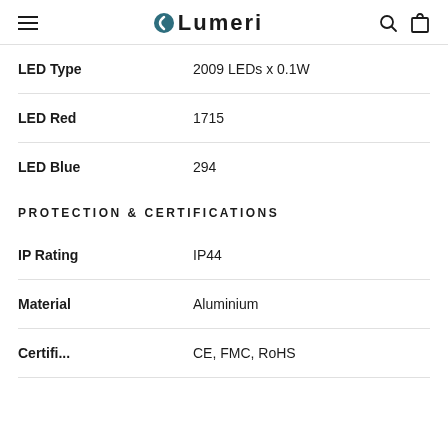Lumeri
| Property | Value |
| --- | --- |
| LED Type | 2009 LEDs x 0.1W |
| LED Red | 1715 |
| LED Blue | 294 |
PROTECTION & CERTIFICATIONS
| Property | Value |
| --- | --- |
| IP Rating | IP44 |
| Material | Aluminium |
| Certifications | CE, FMC, RoHS |